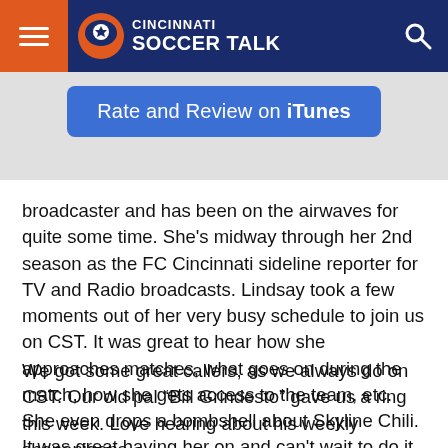Cincinnati Soccer Talk
[Figure (screenshot): Rate and Review on iTunes blue button]
broadcaster and has been on the airwaves for quite some time. She's midway through her 2nd season as the FC Cincinnati sideline reporter for TV and Radio broadcasts. Lindsay took a few moments out of her very busy schedule to join us on CST. It was great to hear how she approaches matches, what goes on during the match, how she gets access to the team, etc. She even drops a bombshell about Skyline Chili. It was great having her on and can't wait to do it again.
We got some great callers, as we always do on CST. Our old pal “Bill Grindesto” gave us a ring this week. Love hearing about his weekly shenanigans.